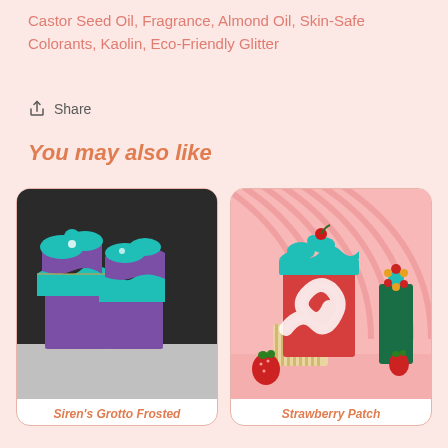Castor Seed Oil, Fragrance, Almond Oil, Skin-Safe Colorants, Kaolin, Eco-Friendly Glitter
Share
You may also like
[Figure (photo): Two bars of artisan soap with purple base and teal/turquoise swirled frosting top, displayed on a gray surface against a dark background]
Siren's Grotto Frosted
[Figure (photo): Red and white swirled artisan soap bar with teal frosting top, displayed with strawberries against a pink striped background with another decorative soap bar]
Strawberry Patch